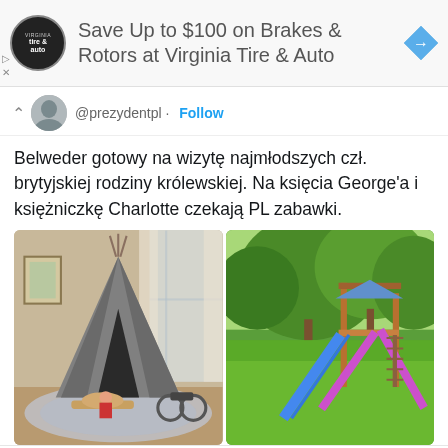[Figure (screenshot): Advertisement banner: 'Save Up to $100 on Brakes & Rotors at Virginia Tire & Auto' with tire & auto logo and blue arrow icon]
@prezydentpl · Follow
Belweder gotowy na wizytę najmłodszych czł. brytyjskiej rodziny królewskiej. Na księcia George'a i księżniczkę Charlotte czekają PL zabawki.
[Figure (photo): Two photos side by side: left shows a tipi tent indoors with a child and wooden toys on a patterned rug; right shows an outdoor playground with colorful slides and climbing structure on green grass.]